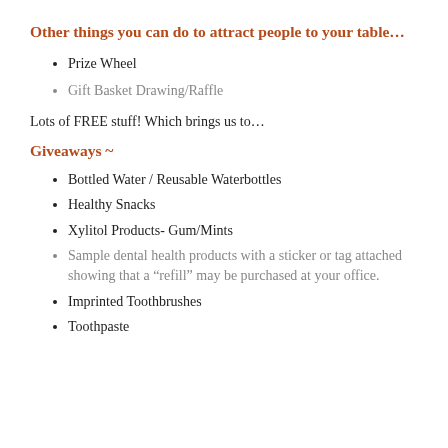Other things you can do to attract people to your table…
Prize Wheel
Gift Basket Drawing/Raffle
Lots of FREE stuff! Which brings us to…
Giveaways ~
Bottled Water / Reusable Waterbottles
Healthy Snacks
Xylitol Products- Gum/Mints
Sample dental health products with a sticker or tag attached showing that a “refill” may be purchased at your office.
Imprinted Toothbrushes
Toothpaste